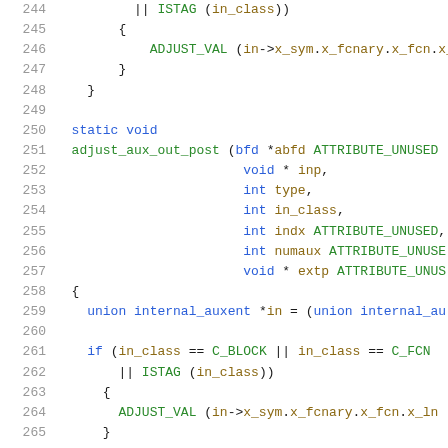[Figure (screenshot): Source code listing showing C function definitions with line numbers 244-265. Shows adjust_aux_out_post function definition with parameters and body including union internal_auxent and if condition with ADJUST_VAL macro.]